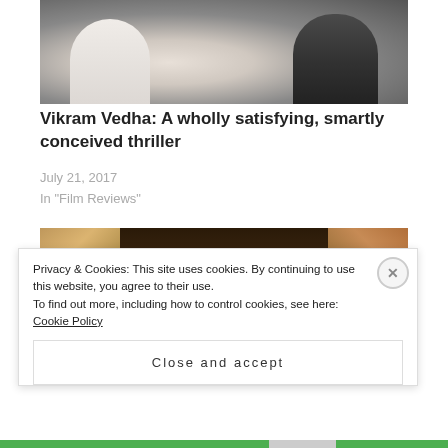[Figure (photo): Two people standing facing each other against a dark background — one in a white shirt (left) and one in a dark shirt (right)]
Vikram Vedha: A wholly satisfying, smartly conceived thriller
July 21, 2017
In "Film Reviews"
[Figure (photo): Close-up top-of-head shot of a person with dark hair parted in the middle, flanked by floral fabric patterns on each side]
Privacy & Cookies: This site uses cookies. By continuing to use this website, you agree to their use.
To find out more, including how to control cookies, see here: Cookie Policy
Close and accept